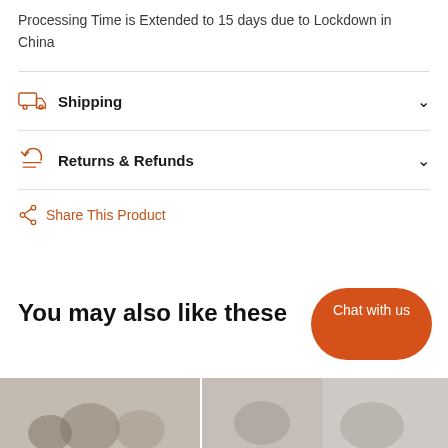Processing Time is Extended to 15 days due to Lockdown in China
Shipping
Returns & Refunds
Share This Product
You may also like these
[Figure (photo): Product thumbnail images at the bottom of the page showing stuffed animal products]
Chat with us